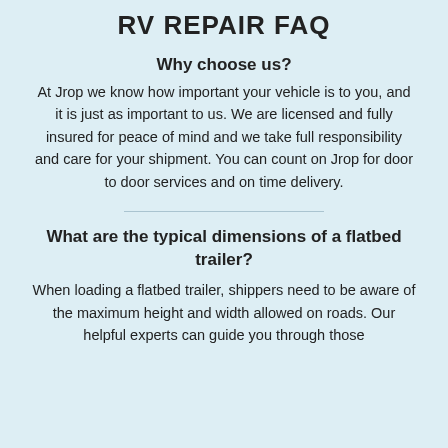RV REPAIR FAQ
Why choose us?
At Jrop we know how important your vehicle is to you, and it is just as important to us. We are licensed and fully insured for peace of mind and we take full responsibility and care for your shipment. You can count on Jrop for door to door services and on time delivery.
What are the typical dimensions of a flatbed trailer?
When loading a flatbed trailer, shippers need to be aware of the maximum height and width allowed on roads. Our helpful experts can guide you through those